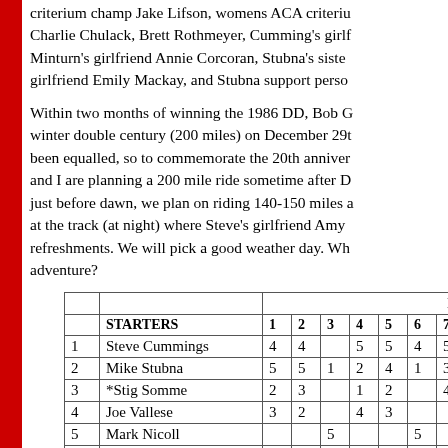criterium champ Jake Lifson, womens ACA criterium Charlie Chulack, Brett Rothmeyer, Cumming's girlfriend, Minturn's girlfriend Annie Corcoran, Stubna's sister, girlfriend Emily Mackay, and Stubna support person...
Within two months of winning the 1986 DD, Bob G... winter double century (200 miles) on December 29th... been equalled, so to commemorate the 20th anniversary and I are planning a 200 mile ride sometime after De... just before dawn, we plan on riding 140-150 miles a... at the track (at night) where Steve's girlfriend Amy m... refreshments. We will pick a good weather day. Who... adventure?
|  |  | H | 1 | 2 | 3 | 4 | 5 | 6 | 7 |
| --- | --- | --- | --- | --- | --- | --- | --- | --- | --- |
|  | STARTERS |  | 1 | 2 | 3 | 4 | 5 | 6 | 7 |
| 1 | Steve Cummings |  | 4 | 4 |  | 5 | 5 | 4 | 5 |
| 2 | Mike Stubna |  | 5 | 5 | 1 | 2 | 4 | 1 | 3 |
| 3 | *Stig Somme |  | 2 | 3 |  | 1 | 2 |  | 4 |
| 4 | Joe Vallese |  | 3 | 2 |  | 4 | 3 |  |  |
| 5 | Mark Nicoll |  |  |  | 5 |  |  | 5 |  |
| 6 | John Minturn |  |  |  | 3 |  |  | 3 |  |